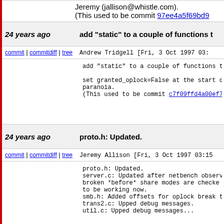Jeremy (jallison@whistle.com).
(This used to be commit 97ee4a5f69bd9...
24 years ago   add "static" to a couple of functions t...
commit | commitdiff | tree   Andrew Tridgell [Fri, 3 Oct 1997 03:...
add "static" to a couple of functions that ...

set granted_oplock=False at the start of ...
paranoia.
(This used to be commit c7f09ffd4a00ef7...
24 years ago   proto.h: Updated.
commit | commitdiff | tree   Jeremy Allison [Fri, 3 Oct 1997 03:15...
proto.h: Updated.
server.c: Updated after netbench observa...
broken *before* share modes are checke...
to be working now.
smb.h: Added offsets for oplock break tim...
trans2.c: Upped debug messages.
util.c: Upped debug messages...